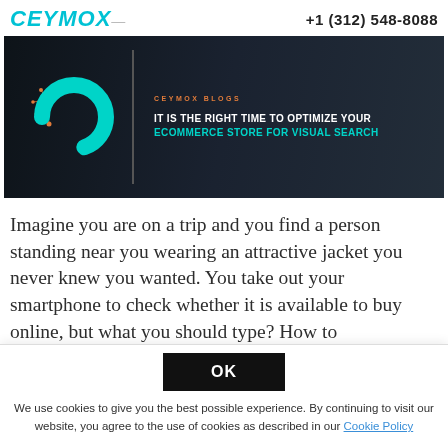CEYMOX   +1 (312) 548-8088
[Figure (illustration): Dark banner image with a teal/cyan donut chart icon on the left with orange network nodes, a vertical dividing line, and text on the right reading 'CEYMOX BLOGS' and 'IT IS THE RIGHT TIME TO OPTIMIZE YOUR ECOMMERCE STORE FOR VISUAL SEARCH']
Imagine you are on a trip and you find a person standing near you wearing an attractive jacket you never knew you wanted. You take out your smartphone to check whether it is available to buy online, but what you should type? How to
OK
We use cookies to give you the best possible experience. By continuing to visit our website, you agree to the use of cookies as described in our Cookie Policy